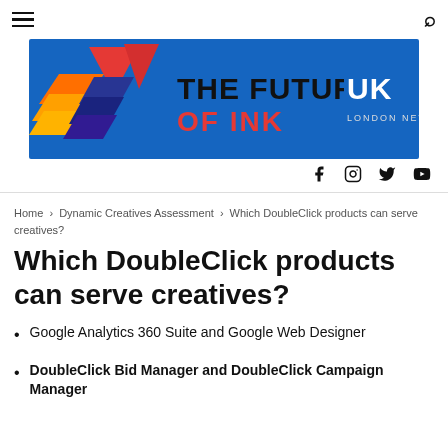[Figure (logo): The Future of Ink UK London News logo banner with blue background, geometric colorful shapes and bold text]
Home › Dynamic Creatives Assessment › Which DoubleClick products can serve creatives?
Which DoubleClick products can serve creatives?
Google Analytics 360 Suite and Google Web Designer
DoubleClick Bid Manager and DoubleClick Campaign Manager